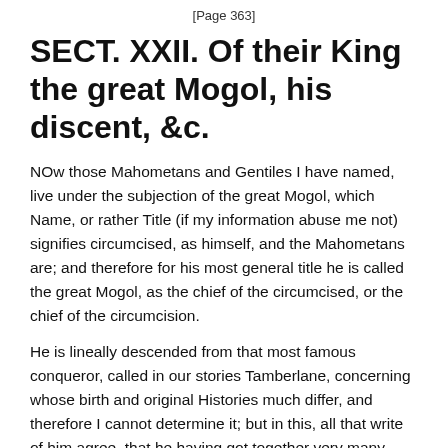[Page 363]
SECT. XXII. Of their King the great Mogol, his discent, &c.
NOw those Mahometans and Gentiles I have named, live under the subjection of the great Mogol, which Name, or rather Title (if my information abuse me not) signifies circumcised, as himself, and the Mahometans are; and therefore for his most general title he is called the great Mogol, as the chief of the circumcised, or the chief of the circumcision.
He is lineally descended from that most famous conqueror, called in our stories Tamberlane, concerning whose birth and original Histories much differ, and therefore I cannot determine it; but in this, all that write of him agree, that he having got together very many huge multitudes of men, made very great conquests in the South-East parts of the World, not onely on Persia, the Emperour of the Turks, but also in East-India, and